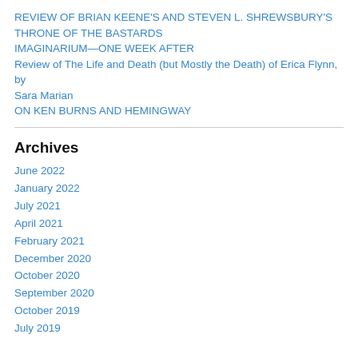REVIEW OF BRIAN KEENE'S AND STEVEN L. SHREWSBURY'S THRONE OF THE BASTARDS
IMAGINARIUM—ONE WEEK AFTER
Review of The Life and Death (but Mostly the Death) of Erica Flynn, by Sara Marian
ON KEN BURNS AND HEMINGWAY
Archives
June 2022
January 2022
July 2021
April 2021
February 2021
December 2020
October 2020
September 2020
October 2019
July 2019